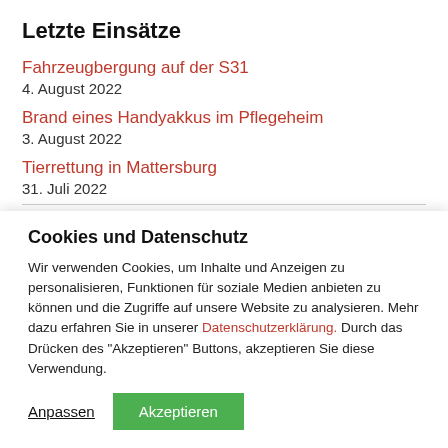Letzte Einsätze
Fahrzeugbergung auf der S31
4. August 2022
Brand eines Handyakkus im Pflegeheim
3. August 2022
Tierrettung in Mattersburg
31. Juli 2022
Cookies und Datenschutz
Wir verwenden Cookies, um Inhalte und Anzeigen zu personalisieren, Funktionen für soziale Medien anbieten zu können und die Zugriffe auf unsere Website zu analysieren. Mehr dazu erfahren Sie in unserer Datenschutzerklärung. Durch das Drücken des "Akzeptieren" Buttons, akzeptieren Sie diese Verwendung.
Anpassen
Akzeptieren